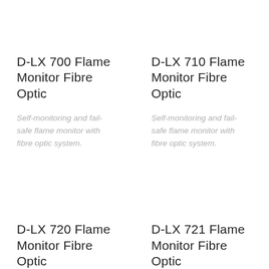D-LX 700 Flame Monitor Fibre Optic
Self-monitoring and fail-safe flame monitor with fibre optic system.
D-LX 710 Flame Monitor Fibre Optic
Self-monitoring and fail-safe flame monitor with fibre optic system.
D-LX 720 Flame Monitor Fibre Optic
D-LX 721 Flame Monitor Fibre Optic